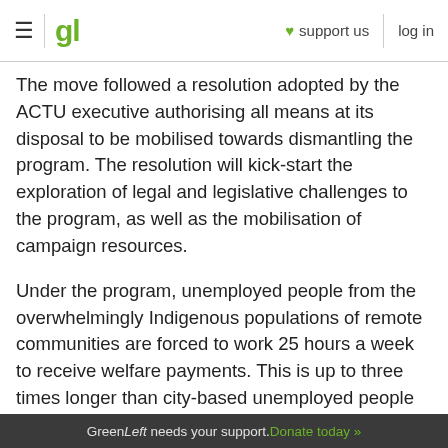≡ | gl ♥ support us log in
The move followed a resolution adopted by the ACTU executive authorising all means at its disposal to be mobilised towards dismantling the program. The resolution will kick-start the exploration of legal and legislative challenges to the program, as well as the mobilisation of campaign resources.
Under the program, unemployed people from the overwhelmingly Indigenous populations of remote communities are forced to work 25 hours a week to receive welfare payments. This is up to three times longer than city-based unemployed people need to work.
Green Left needs your support. Donate today »